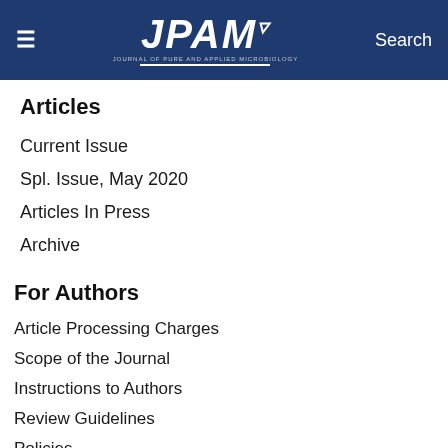JPAM — Journal of Pure and Applied Microbiology
Articles
Current Issue
Spl. Issue, May 2020
Articles In Press
Archive
For Authors
Article Processing Charges
Scope of the Journal
Instructions to Authors
Review Guidelines
Policies
Article Submission Form